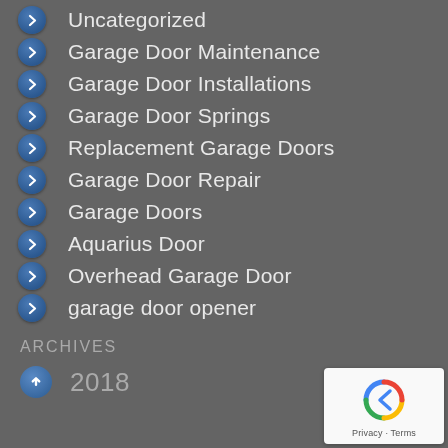Uncategorized
Garage Door Maintenance
Garage Door Installations
Garage Door Springs
Replacement Garage Doors
Garage Door Repair
Garage Doors
Aquarius Door
Overhead Garage Door
garage door opener
ARCHIVES
2018
[Figure (logo): reCAPTCHA badge with Privacy and Terms text]